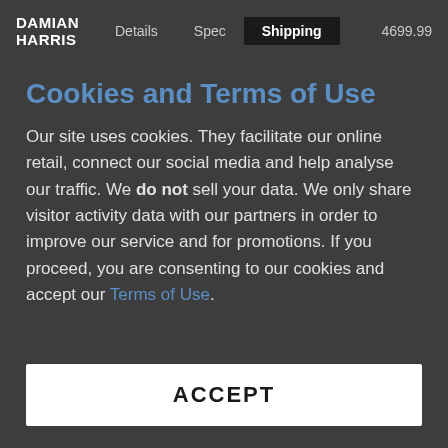DAMIAN HARRIS   Details   Spec   Shipping   4699.99
Cookies and Terms of Use
Our site uses cookies. They facilitate our online retail, connect our social media and help analyse our traffic. We do not sell your data. We only share visitor activity data with our partners in order to improve our service and for promotions. If you proceed, you are consenting to our cookies and accept our Terms of Use.
ACCEPT